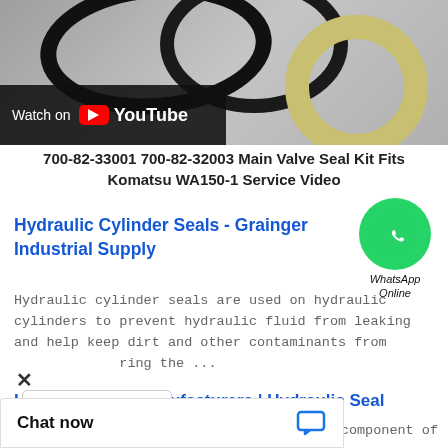[Figure (screenshot): YouTube video thumbnail showing hydraulic seal rings (black O-ring and yellow/cream colored ring) with 'Watch on YouTube' overlay button]
700-82-33001 700-82-32003 Main Valve Seal Kit Fits Komatsu WA150-1 Service Video
[Figure (logo): WhatsApp green circle icon with phone handset, labeled 'WhatsApp Online']
Hydraulic Cylinder Seals - Grainger Industrial Supply
Hydraulic cylinder seals are used on hydraulic cylinders to prevent hydraulic fluid from leaking and help keep dirt and other contaminants from ring the ...
Hydraulic Seal Manufacturers | Hydraulic Seal Suppliers
component of
[Figure (screenshot): Chat now button popup bar with chat bubble icon, and a popup menu showing three dots (more options) with a close X button]